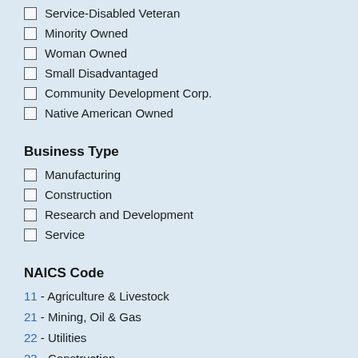Service-Disabled Veteran
Minority Owned
Woman Owned
Small Disadvantaged
Community Development Corp.
Native American Owned
Business Type
Manufacturing
Construction
Research and Development
Service
NAICS Code
11 - Agriculture & Livestock
21 - Mining, Oil & Gas
22 - Utilities
23 - Construction